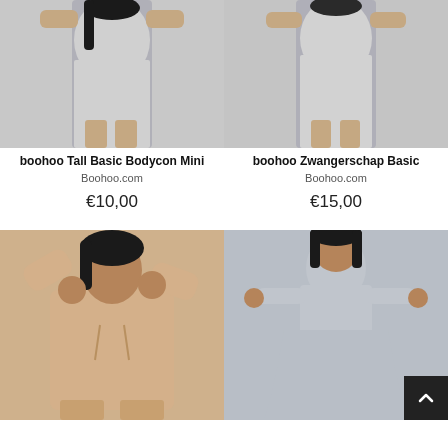[Figure (photo): Woman wearing a light gray long-sleeve bodycon mini dress, shown from waist down]
boohoo Tall Basic Bodycon Mini
Boohoo.com
€10,00
[Figure (photo): Woman wearing a light gray long-sleeve basic maternity dress, shown from waist down]
boohoo Zwangerschap Basic
Boohoo.com
€15,00
[Figure (photo): Woman wearing a beige cropped hoodie sweatshirt set, pulling hood up]
[Figure (photo): Woman wearing a light gray turtleneck smock dress with long sleeves]